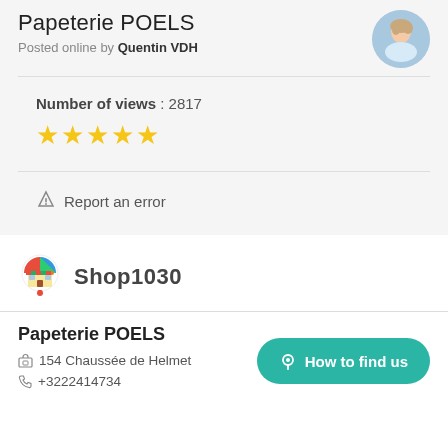Papeterie POELS
Posted online by Quentin VDH
Number of views : 2817
[Figure (illustration): Five gold/yellow star rating icons]
Report an error
[Figure (logo): Shop1030 logo with colorful circular shop icon and bold text Shop1030]
Papeterie POELS
154 Chaussée de Helmet
+3222414734
How to find us